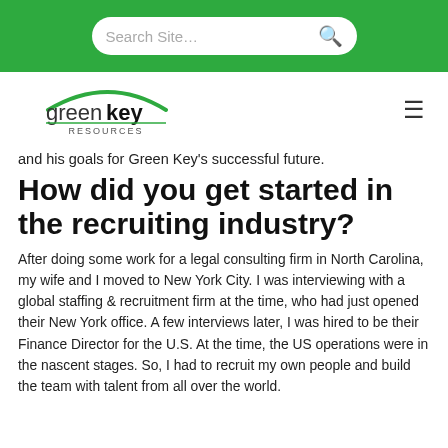Search Site...
[Figure (logo): Green Key Resources logo — green arc over text 'green key' with 'RESOURCES' below]
and his goals for Green Key's successful future.
How did you get started in the recruiting industry?
After doing some work for a legal consulting firm in North Carolina, my wife and I moved to New York City. I was interviewing with a global staffing & recruitment firm at the time, who had just opened their New York office. A few interviews later, I was hired to be their Finance Director for the U.S. At the time, the US operations were in the nascent stages. So, I had to recruit my own people and build the team with talent from all over the world.